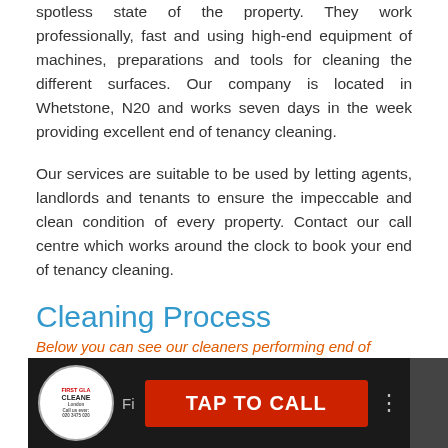spotless state of the property. They work professionally, fast and using high-end equipment of machines, preparations and tools for cleaning the different surfaces. Our company is located in Whetstone, N20 and works seven days in the week providing excellent end of tenancy cleaning.
Our services are suitable to be used by letting agents, landlords and tenants to ensure the impeccable and clean condition of every property. Contact our call centre which works around the clock to book your end of tenancy cleaning.
Cleaning Process
Below you can see our cleaners performing end of tenancy cleaning
[Figure (screenshot): Video thumbnail showing a cleaning company logo, 'Fi...' text, a red TAP TO CALL button, and a three-dot menu icon on a dark background]